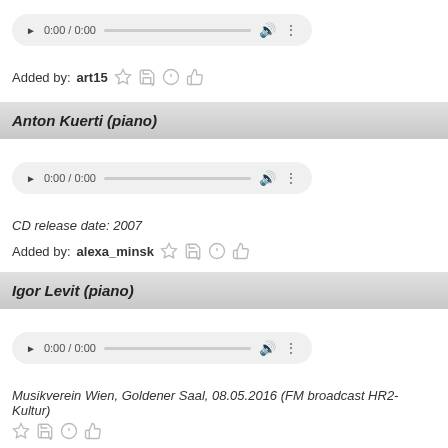[Figure (screenshot): Audio player widget showing 0:00 / 0:00 with play button, progress bar, volume and more icons]
Added by: art15 ☆ 💾 ⚠ 👍
Anton Kuerti (piano)
[Figure (screenshot): Audio player widget showing 0:00 / 0:00 with play button, progress bar, volume and more icons]
CD release date: 2007
Added by: alexa_minsk ☆ 💾 ⚠ 👍
Igor Levit (piano)
[Figure (screenshot): Audio player widget showing 0:00 / 0:00 with play button, progress bar, volume and more icons]
Musikverein Wien, Goldener Saal, 08.05.2016 (FM broadcast HR2-Kultur)
Added by: (icons visible, text cut off)